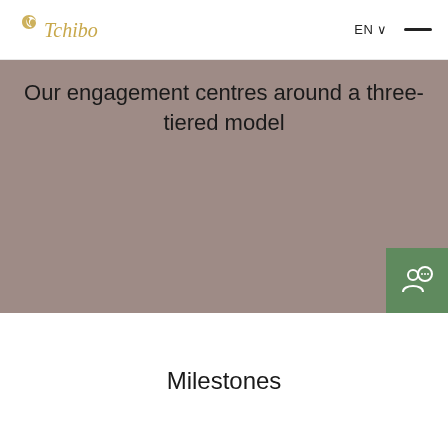Tchibo  EN  —
Our engagement centres around a three-tiered model
Milestones